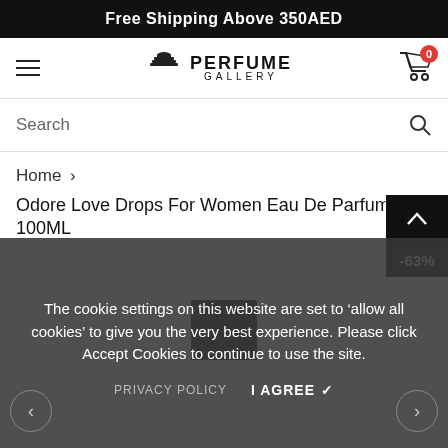Free Shipping Above 350AED
[Figure (logo): Perfume Gallery logo with hamburger menu and cart icon showing 0 items]
Search
Home >
Odore Love Drops For Women Eau De Parfum 100ML
-63%
[Figure (photo): Dark perfume bottle partially visible]
The cookie settings on this website are set to ‘allow all cookies’ to give you the very best experience. Please click Accept Cookies to continue to use the site.
PRIVACY POLICY I AGREE ✓